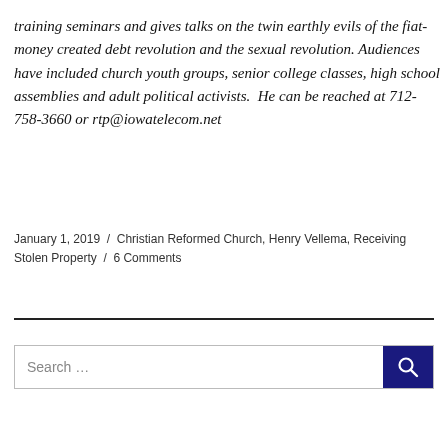training seminars and gives talks on the twin earthly evils of the fiat-money created debt revolution and the sexual revolution. Audiences have included church youth groups, senior college classes, high school assemblies and adult political activists.  He can be reached at 712-758-3660 or rtp@iowatelecom.net
January 1, 2019 / Christian Reformed Church, Henry Vellema, Receiving Stolen Property / 6 Comments